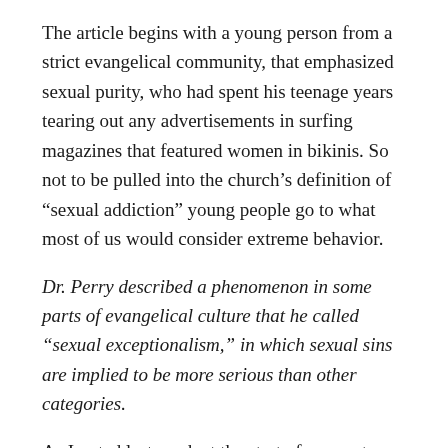The article begins with a young person from a strict evangelical community, that emphasized sexual purity, who had spent his teenage years tearing out any advertisements in surfing magazines that featured women in bikinis. So not to be pulled into the church’s definition of “sexual addiction” young people go to what most of us would consider extreme behavior.
Dr. Perry described a phenomenon in some parts of evangelical culture that he called “sexual exceptionalism,” in which sexual sins are implied to be more serious than other categories.
As I noted last week at the start of my post there is one reason for this power play by churches about sexuality.